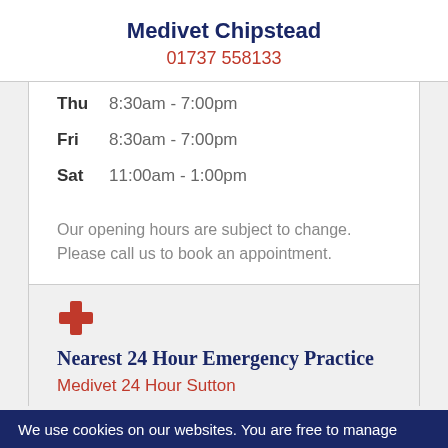Medivet Chipstead
01737 558133
Thu   8:30am - 7:00pm
Fri   8:30am - 7:00pm
Sat   11:00am - 1:00pm
Our opening hours are subject to change. Please call us to book an appointment.
Nearest 24 Hour Emergency Practice
Medivet 24 Hour Sutton
We use cookies on our websites. You are free to manage